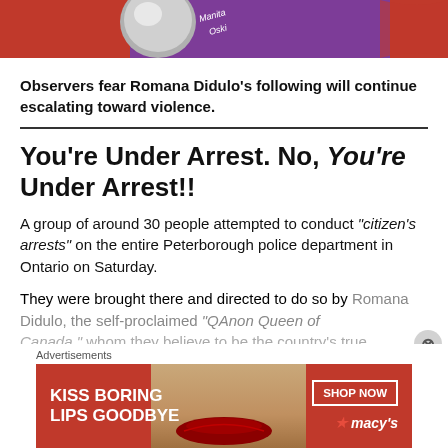[Figure (photo): Top banner image showing a person wearing a purple shirt and a gray/silver balloon or object, with red background on the left side. Partial text visible on the purple shirt.]
Observers fear Romana Didulo's following will continue escalating toward violence.
You're Under Arrest. No, You're Under Arrest!!
A group of around 30 people attempted to conduct “citizen’s arrests” on the entire Peterborough police department in Ontario on Saturday.
They were brought there and directed to do so by Romana Didulo, the self-proclaimed “QAnon Queen of Canada,” whom they believe to be the country’s true
[Figure (advertisement): Advertisement banner: Kiss Boring Lips Goodbye - SHOP NOW - macy's. Red background with a woman's face and red lips.]